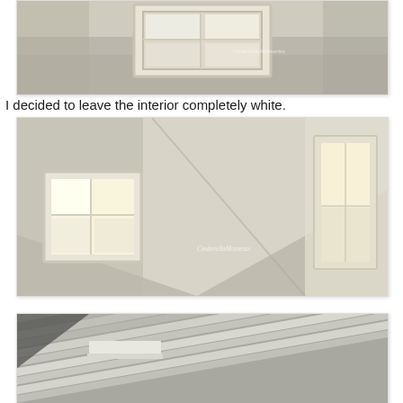[Figure (photo): Interior room photo showing white ceiling with a small square window with four panes, walls painted white, shot from below looking up. Watermark reads CinderellaMemories.]
I decided to leave the interior completely white.
[Figure (photo): Interior attic-like room with slanted white ceiling, two windows visible — one on the left letting in bright light through four panes, one on the right showing a taller narrow window with warm light. Watermark reads CinderellaMoments.]
[Figure (photo): Close-up exterior photo of weathered white painted wooden siding/shingles on a building, showing layered horizontal boards at an angle.]